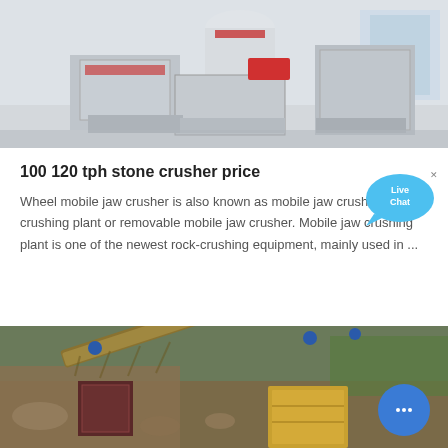[Figure (photo): Industrial stone crusher / milling equipment in a large factory floor, showing grey machinery with a red conveyor accent]
100 120 tph stone crusher price
Wheel mobile jaw crusher is also known as mobile jaw crushing plant or removable mobile jaw crusher. Mobile jaw crushing plant is one of the newest rock-crushing equipment, mainly used in ...
[Figure (photo): Outdoor rock crushing plant with conveyor belts, rubble, and yellow industrial containers on a hillside]